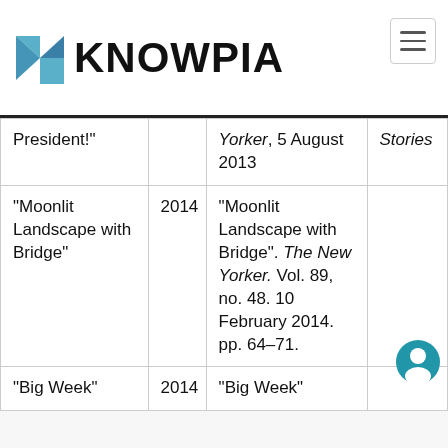KNOWPIA
| Title | Year | Source | Notes |
| --- | --- | --- | --- |
| President!" |  | Yorker, 5 August 2013 | Stories |
| "Moonlit Landscape with Bridge" | 2014 | "Moonlit Landscape with Bridge". The New Yorker. Vol. 89, no. 48. 10 February 2014. pp. 64–71. |  |
| "Big Week" | 2014 | "Big Week" |  |